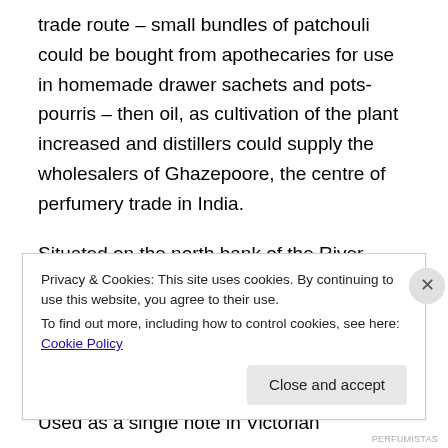trade route – small bundles of patchouli could be bought from apothecaries for use in homemade drawer sachets and pots-pourris – then oil, as cultivation of the plant increased and distillers could supply the wholesalers of Ghazepoore, the centre of perfumery trade in India.
Situated on the north bank of the River Ganges above Benares, Ghazepoore was also the main producer of opium in an industry established by the British East India Company in 1820.
Used as a single note in Victorian handkerchief scents
Privacy & Cookies: This site uses cookies. By continuing to use this website, you agree to their use.
To find out more, including how to control cookies, see here: Cookie Policy
Close and accept